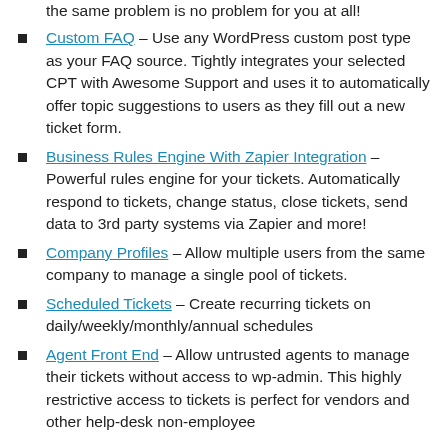the same problem is no problem for you at all!
Custom FAQ – Use any WordPress custom post type as your FAQ source. Tightly integrates your selected CPT with Awesome Support and uses it to automatically offer topic suggestions to users as they fill out a new ticket form.
Business Rules Engine With Zapier Integration – Powerful rules engine for your tickets. Automatically respond to tickets, change status, close tickets, send data to 3rd party systems via Zapier and more!
Company Profiles – Allow multiple users from the same company to manage a single pool of tickets.
Scheduled Tickets – Create recurring tickets on daily/weekly/monthly/annual schedules
Agent Front End – Allow untrusted agents to manage their tickets without access to wp-admin. This highly restrictive access to tickets is perfect for vendors and other help-desk non-employee